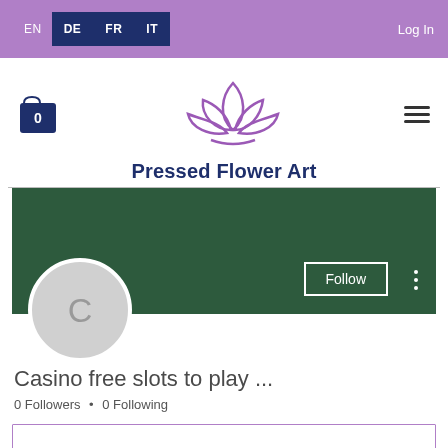EN DE FR IT Log In
[Figure (logo): Pressed Flower Art lotus flower logo in purple]
Pressed Flower Art
[Figure (screenshot): User profile page on Pressed Flower Art website showing green banner, avatar circle with C, Follow button, Casino free slots to play... username, 0 Followers, 0 Following]
Casino free slots to play ...
0 Followers • 0 Following